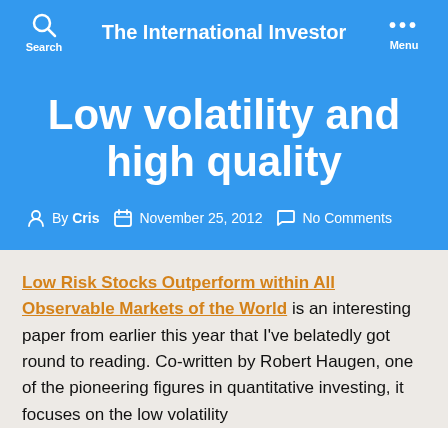The International Investor
Low volatility and high quality
By Cris   November 25, 2012   No Comments
Low Risk Stocks Outperform within All Observable Markets of the World is an interesting paper from earlier this year that I've belatedly got round to reading. Co-written by Robert Haugen, one of the pioneering figures in quantitative investing, it focuses on the low volatility